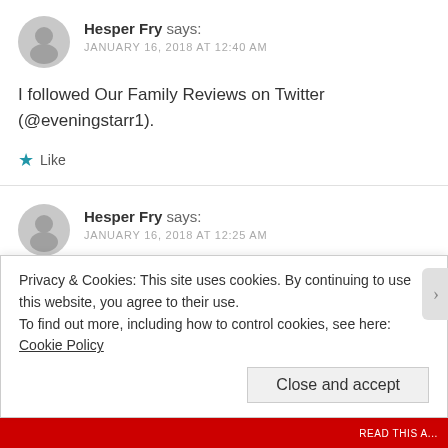Hesper Fry says: JANUARY 16, 2018 AT 12:40 AM
I followed Our Family Reviews on Twitter (@eveningstarr1).
Like
Hesper Fry says: JANUARY 16, 2018 AT 12:25 AM
I followed Top Trumps' Facebook page (Hesper Fry)
Privacy & Cookies: This site uses cookies. By continuing to use this website, you agree to their use. To find out more, including how to control cookies, see here: Cookie Policy
Close and accept